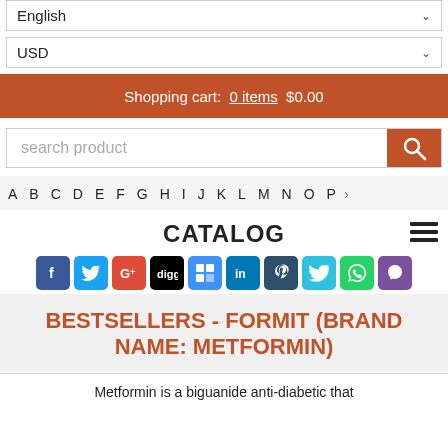English
USD
Shopping cart:  0 items  $0.00
search product
A B C D E F G H I J K L M N O P
CATALOG
[Figure (infographic): Social sharing icons: Facebook, Twitter, Google+, Digg, Delicious, LinkedIn, Pinterest, Twitter bird, WhatsApp, Viber]
BESTSELLERS - FORMIT (BRAND NAME: METFORMIN)
Metformin is a biguanide anti-diabetic that